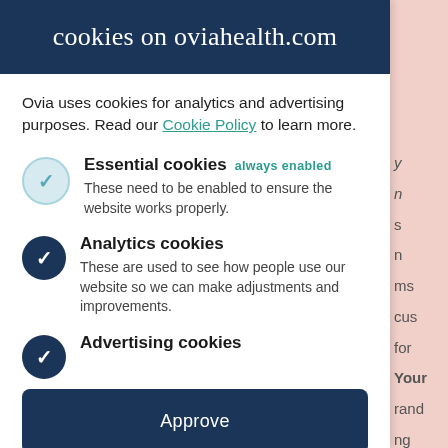cookies on oviahealth.com
Ovia uses cookies for analytics and advertising purposes. Read our Cookie Policy to learn more.
Essential cookies  always enabled
These need to be enabled to ensure the website works properly.
Analytics cookies
These are used to see how people use our website so we can make adjustments and improvements.
Advertising cookies
Approve